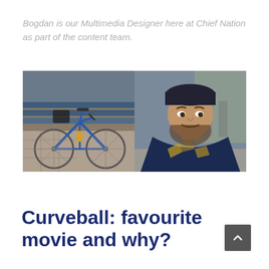Bogdan is our Multimedia Designer here at Chief Nation as part of the content team.
[Figure (photo): Two side-by-side photos: left shows a blue road bicycle leaning against a blue bench on a paved surface; right shows a close-up selfie of a man wearing a dark cycling cap and navy blue cycling jersey with geometric patterns.]
Curveball: favourite movie and why?